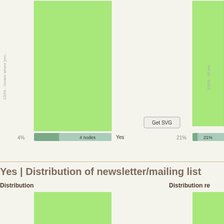[Figure (bar-chart): Top portion of a visualization showing two large green bar chart columns. Left bar labeled with '100% - Nodes where [em...' (rotated), 4% and '4 nodes Yes' progress bar. Right bar labeled '100% - All the...' (rotated), 21% indicator. A 'Get SVG' button is visible.]
Yes | Distribution of newsletter/mailing list
Distribution
Distribution re